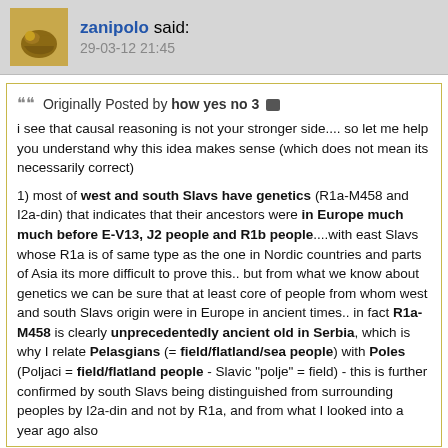zanipolo said: 29-03-12 21:45
Originally Posted by how yes no 3
i see that causal reasoning is not your stronger side.... so let me help you understand why this idea makes sense (which does not mean its necessarily correct)

1) most of west and south Slavs have genetics (R1a-M458 and I2a-din) that indicates that their ancestors were in Europe much much before E-V13, J2 people and R1b people....with east Slavs whose R1a is of same type as the one in Nordic countries and parts of Asia its more difficult to prove this.. but from what we know about genetics we can be sure that at least core of people from whom west and south Slavs origin were in Europe in ancient times.. in fact R1a-M458 is clearly unprecedentedly ancient old in Serbia, which is why I relate Pelasgians (= field/flatland/sea people) with Poles (Poljaci = field/flatland people - Slavic "polje" = field) - this is further confirmed by south Slavs being distinguished from surrounding peoples by I2a-din and not by R1a, and from what I looked into a year ago also